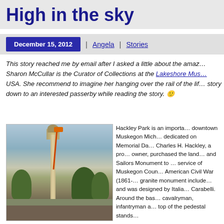High in the sky
December 15, 2012 | Angela | Stories
This story reached me by email after I asked a little about the amaz… Sharon McCullar is the Curator of Collections at the Lakeshore Mus… USA. She recommend to imagine her hanging over the rail of the lif… story down to an interested passerby while reading the story. 🙂
[Figure (photo): Photo of a tall granite Civil War soldiers and sailors monument in Hackley Park, downtown Muskegon Michigan, with a cherry picker/aerial lift raised to the top of the monument for maintenance work. Trees and a cloudy sky are visible in the background.]
Hackley Park is an importa… downtown Muskegon Mich… dedicated on Memorial Da… Charles H. Hackley, a pro… owner, purchased the land… and Sailors Monument to … service of Muskegon Coun… American Civil War (1861-… granite monument include… and was designed by Italia… Carabelli.  Around the bas… cavalryman, infantryman a… top of the pedestal stands…